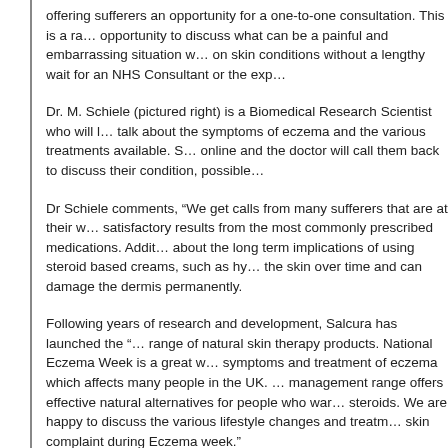offering sufferers an opportunity for a one-to-one consultation. This is a ra… opportunity to discuss what can be a painful and embarrassing situation w… on skin conditions without a lengthy wait for an NHS Consultant or the exp…
Dr. M. Schiele (pictured right) is a Biomedical Research Scientist who will l… talk about the symptoms of eczema and the various treatments available. S… online and the doctor will call them back to discuss their condition, possible…
Dr Schiele comments, “We get calls from many sufferers that are at their w… satisfactory results from the most commonly prescribed medications. Addit… about the long term implications of using steroid based creams, such as hy… the skin over time and can damage the dermis permanently.
Following years of research and development, Salcura has launched the “… range of natural skin therapy products. National Eczema Week is a great w… symptoms and treatment of eczema which affects many people in the UK. … management range offers effective natural alternatives for people who war… steroids. We are happy to discuss the various lifestyle changes and treatm… skin complaint during Eczema week.”
People with eczema or similar skin complaints such as psoriasis can book…